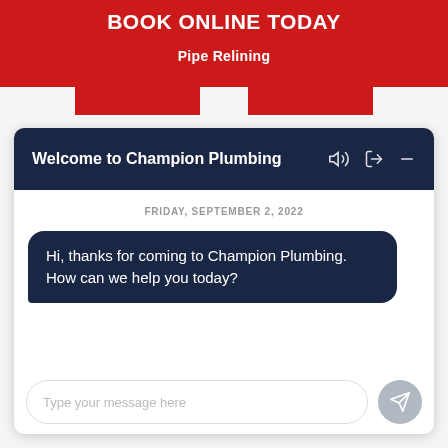BOOK ONLINE TODAY
Pipe Relining
Welcome to Champion Plumbing
FRIDAY, SEPTEMBER 2, 2022
Hi, thanks for coming to Champion Plumbing. How can we help you today?
Type your message here